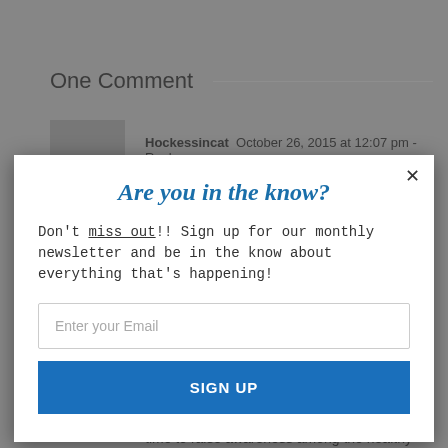One Comment
Hockessincat  October 26, 2015 at 12:07 pm - Reply
[Figure (screenshot): Modal popup overlay with newsletter signup form showing title 'Are you in the know?', email input field, and SIGN UP button]
to do lemonade stands and help raise more money for the children. I am sorry for your loss and grateful that you are taking the time to raise awareness among the healthy next generation!